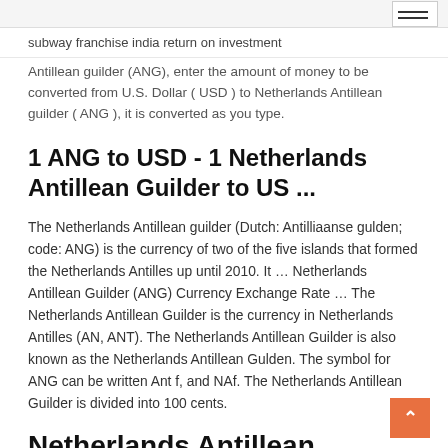subway franchise india return on investment
Antillean guilder (ANG), enter the amount of money to be converted from U.S. Dollar ( USD ) to Netherlands Antillean guilder ( ANG ), it is converted as you type.
1 ANG to USD - 1 Netherlands Antillean Guilder to US ...
The Netherlands Antillean guilder (Dutch: Antilliaanse gulden; code: ANG) is the currency of two of the five islands that formed the Netherlands Antilles up until 2010. It … Netherlands Antillean Guilder (ANG) Currency Exchange Rate … The Netherlands Antillean Guilder is the currency in Netherlands Antilles (AN, ANT). The Netherlands Antillean Guilder is also known as the Netherlands Antillean Gulden. The symbol for ANG can be written Ant f, and NAf. The Netherlands Antillean Guilder is divided into 100 cents.
Netherlands Antillean